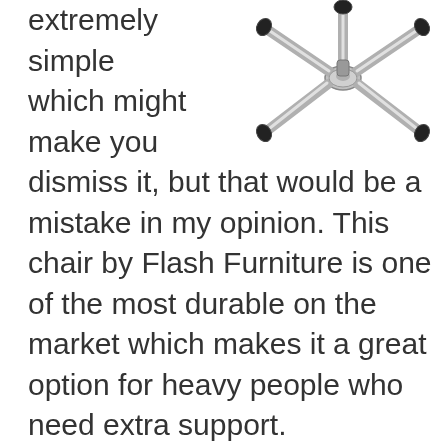[Figure (photo): Bottom view of an office chair base with chrome star-shaped legs and black caster wheels, partially visible at the top-right of the page.]
extremely simple which might make you dismiss it, but that would be a mistake in my opinion. This chair by Flash Furniture is one of the most durable on the market which makes it a great option for heavy people who need extra support.